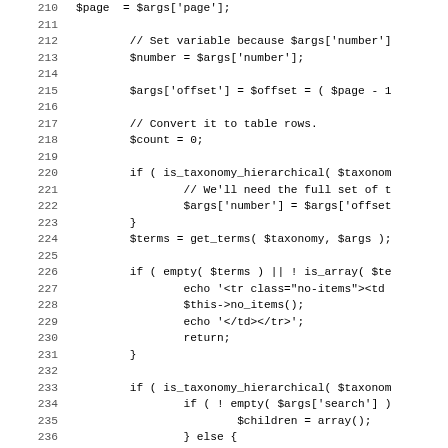Code listing lines 210-242 showing PHP taxonomy list table code